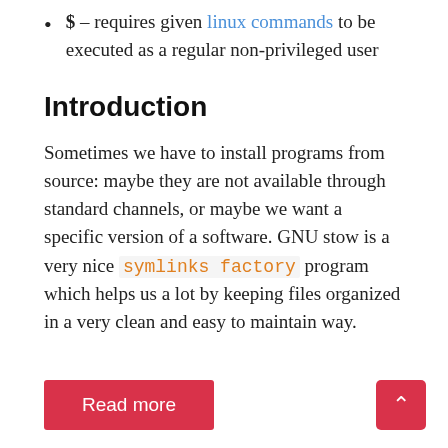$ – requires given linux commands to be executed as a regular non-privileged user
Introduction
Sometimes we have to install programs from source: maybe they are not available through standard channels, or maybe we want a specific version of a software. GNU stow is a very nice symlinks factory program which helps us a lot by keeping files organized in a very clean and easy to maintain way.